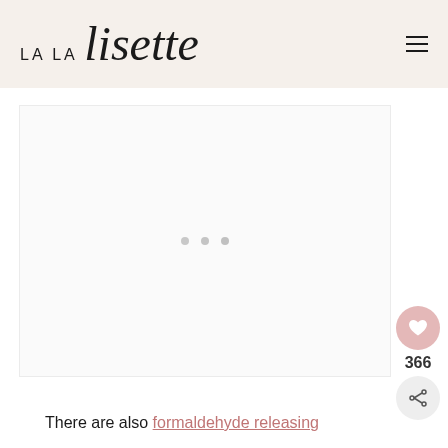LA LA lisette
[Figure (other): Loading placeholder with three dots in a white/light gray box]
There are also formaldehyde releasing